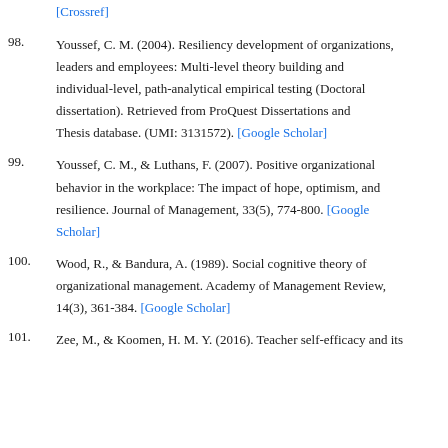[Crossref]
98. Youssef, C. M. (2004). Resiliency development of organizations, leaders and employees: Multi-level theory building and individual-level, path-analytical empirical testing (Doctoral dissertation). Retrieved from ProQuest Dissertations and Thesis database. (UMI: 3131572). [Google Scholar]
99. Youssef, C. M., & Luthans, F. (2007). Positive organizational behavior in the workplace: The impact of hope, optimism, and resilience. Journal of Management, 33(5), 774-800. [Google Scholar]
100. Wood, R., & Bandura, A. (1989). Social cognitive theory of organizational management. Academy of Management Review, 14(3), 361-384. [Google Scholar]
101. Zee, M., & Koomen, H. M. Y. (2016). Teacher self-efficacy and its...